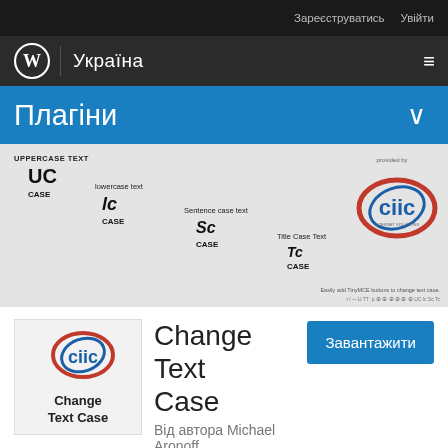Зареєструватись  Увійти
WordPress | Україна
Плагіни
[Figure (screenshot): Plugin banner showing UC CASE, lc CASE, Sc CASE, Tc CASE text transformation examples with ciic logo]
Change Text Case
Від автора Michael Aronoff
Завантажити